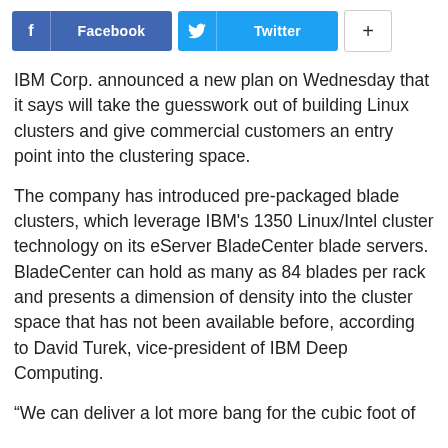[Figure (other): Social share buttons: Facebook, Twitter, and a plus button]
IBM Corp. announced a new plan on Wednesday that it says will take the guesswork out of building Linux clusters and give commercial customers an entry point into the clustering space.
The company has introduced pre-packaged blade clusters, which leverage IBM’s 1350 Linux/Intel cluster technology on its eServer BladeCenter blade servers. BladeCenter can hold as many as 84 blades per rack and presents a dimension of density into the cluster space that has not been available before, according to David Turek, vice-president of IBM Deep Computing.
“We can deliver a lot more bang for the cubic foot of